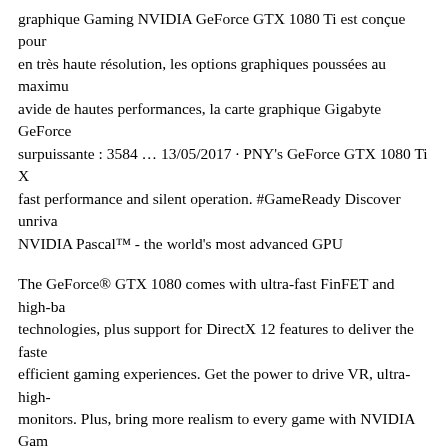graphique Gaming NVIDIA GeForce GTX 1080 Ti est conçue pour en très haute résolution, les options graphiques poussées au maximum avide de hautes performances, la carte graphique Gigabyte GeForce surpuissante : 3584 … 13/05/2017 · PNY's GeForce GTX 1080 Ti X fast performance and silent operation. #GameReady Discover unriva NVIDIA Pascal™ - the world's most advanced GPU
The GeForce® GTX 1080 comes with ultra-fast FinFET and high-ba technologies, plus support for DirectX 12 features to deliver the faste efficient gaming experiences. Get the power to drive VR, ultra-high- monitors. Plus, bring more realism to every game with NVIDIA Gam GeForce GTX 1080 8GB GDDR5X La nouvelle GeForce GTX 1080 la plus avancée sur la planète. Basée sur la nouvelle architecture Pasc performances, une efficacité énergétique et des expériences de jeu sa plateforme Gaming absolue.
Découvrez des commentaires utiles de client et des classements de co KF108IGTXXG11EPB Carte Graphique Nvidia GeForce GTX 1080 Amazon.fr. Lisez des commentaires honnêtes et non biaisés sur les p